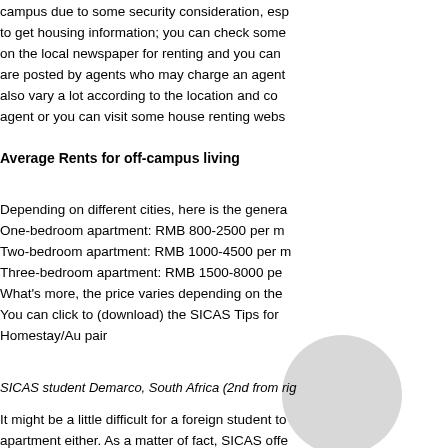campus due to some security consideration, esp... to get housing information; you can check some... on the local newspaper for renting and you can... are posted by agents who may charge an agent... also vary a lot according to the location and co... agent or you can visit some house renting webs...
Average Rents for off-campus living
Depending on different cities, here is the genera... One-bedroom apartment: RMB 800-2500 per m... Two-bedroom apartment: RMB 1000-4500 per m... Three-bedroom apartment: RMB 1500-8000 pe... What's more, the price varies depending on the... You can click to (download) the SICAS Tips for ... Homestay/Au pair
SICAS student Demarco, South Africa (2nd from rig...
It might be a little difficult for a foreign student to... apartment either. As a matter of fact, SICAS offe... "Living in a local family"; means foreigners live i... ...students and host a home or host a Chi...